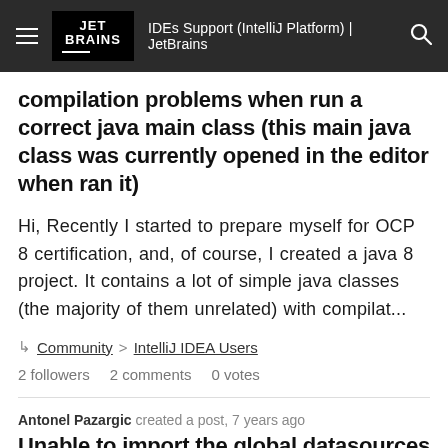IDEs Support (IntelliJ Platform) | JetBrains
compilation problems when run a correct java main class (this main java class was currently opened in the editor when ran it)
Hi, Recently I started to prepare myself for OCP 8 certification, and, of course, I created a java 8 project. It contains a lot of simple java classes (the majority of them unrelated) with compilat...
Community > IntelliJ IDEA Users
2 followers   2 comments   0 votes
Antonel Pazargic created a post, 7 years ago
Unable to import the global datasources